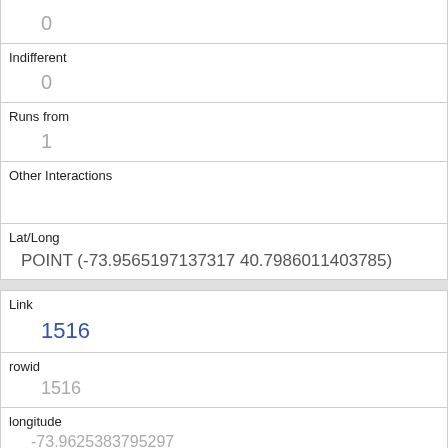|  | 0 |
| Indifferent | 0 |
| Runs from | 1 |
| Other Interactions |  |
| Lat/Long | POINT (-73.9565197137317 40.7986011403785) |
| Link | 1516 |
| rowid | 1516 |
| longitude | -73.9625383795297 |
| latitude | 40.7883862331728 |
| Unique Squirrel ID | 28D-AM-1012-03 |